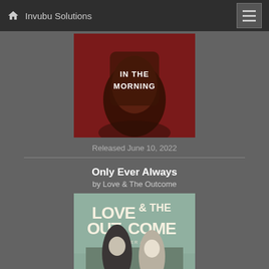Invubu Solutions
[Figure (photo): Album cover showing a leather jacket with 'IN THE MORNING' text on the back, against a red background]
Released June 10, 2022
Only Ever Always
by Love & The Outcome
[Figure (photo): Album cover for 'Only Ever Always' by Love & The Outcome, showing the band logo text with two people standing below]